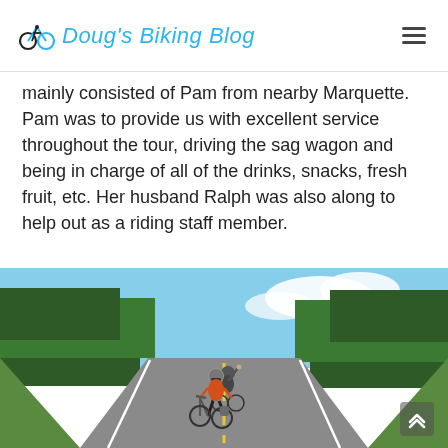Doug's Biking Blog
mainly consisted of Pam from nearby Marquette. Pam was to provide us with excellent service throughout the tour, driving the sag wagon and being in charge of all of the drinks, snacks, fresh fruit, etc. Her husband Ralph was also along to help out as a riding staff member.
[Figure (photo): Two cyclists riding on a straight rural highway lined with dense green trees under a blue sky. The rider in front wears an orange jersey and helmet; a second rider behind is waving.]